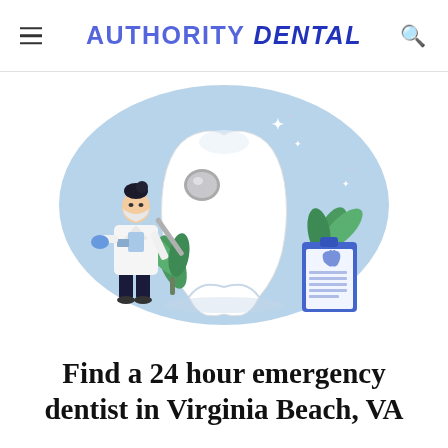AUTHORITY DENTAL
[Figure (illustration): Dental illustration showing a female dentist in white coat and blue gloves holding a dental mirror, standing next to a large white tooth. A clipboard with a tooth icon is in the foreground right. Green plants are visible in the background. The scene is set against a light blue circular background.]
Find a 24 hour emergency dentist in Virginia Beach, VA